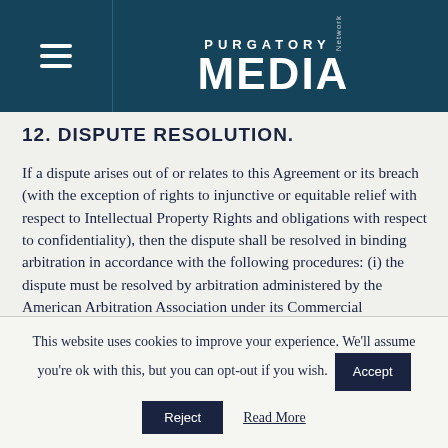PURGATORY MEDIA Network
12.  DISPUTE RESOLUTION.
If a dispute arises out of or relates to this Agreement or its breach (with the exception of rights to injunctive or equitable relief with respect to Intellectual Property Rights and obligations with respect to confidentiality), then the dispute shall be resolved in binding arbitration in accordance with the following procedures: (i) the dispute must be resolved by arbitration administered by the American Arbitration Association under its Commercial
This website uses cookies to improve your experience. We'll assume you're ok with this, but you can opt-out if you wish.
Accept
Reject
Read More